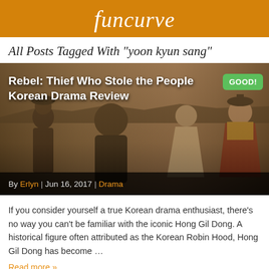funcurve
All Posts Tagged With "yoon kyun sang"
[Figure (photo): Promotional image for 'Rebel: Thief Who Stole the People' Korean drama showing cast members in period costumes against a traditional Korean architectural backdrop. Overlaid with article title 'Rebel: Thief Who Stole the People Korean Drama Review' and a green 'GOOD!' badge.]
By Erlyn | Jun 16, 2017 | Drama
If you consider yourself a true Korean drama enthusiast, there's no way you can't be familiar with the iconic Hong Gil Dong. A historical figure often attributed as the Korean Robin Hood, Hong Gil Dong has become …
Read more »